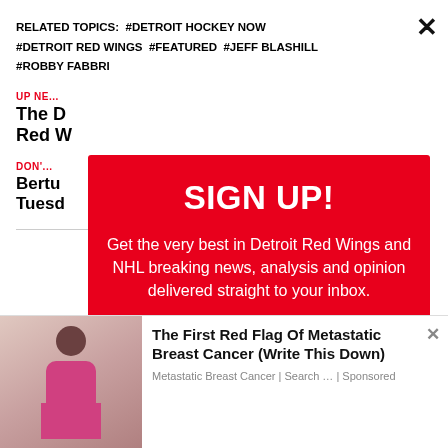RELATED TOPICS: #DETROIT HOCKEY NOW #DETROIT RED WINGS #FEATURED #JEFF BLASHILL #ROBBY FABBRI
UP NEXT
The D... Red W...
DON'T...
Bertu... Tuesd...
[Figure (screenshot): Sign up modal overlay on red background with email input field. Title: SIGN UP! Body: Get the very best in Detroit Red Wings and NHL breaking news, analysis and opinion delivered straight to your inbox.]
[Figure (photo): Bottom ad showing woman holding chest. Ad title: The First Red Flag Of Metastatic Breast Cancer (Write This Down). Source: Metastatic Breast Cancer | Search ... | Sponsored]